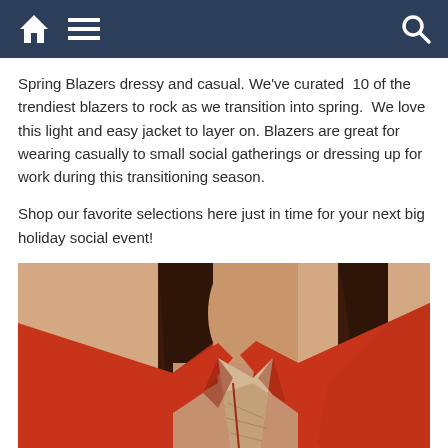Navigation bar with home, menu, and search icons
Spring Blazers dressy and casual. We've curated  10 of the trendiest blazers to rock as we transition into spring.  We love this light and easy jacket to layer on. Blazers are great for wearing casually to small social gatherings or dressing up for work during this transitioning season.
Shop our favorite selections here just in time for your next big holiday social event!
[Figure (photo): Close-up photo of a woman wearing an orange-red blazer jacket, showing her neck and upper torso area with the open collar of the blazer visible.]